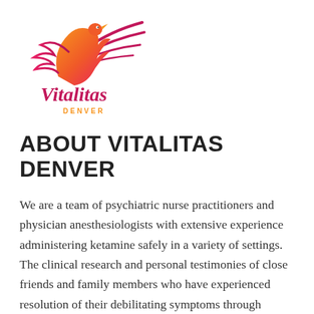[Figure (logo): Vitalitas Denver logo — a stylized bird/phoenix in pink, red, and orange gradient colors, with the word 'Vitalitas' in a script font (red/pink) and 'DENVER' in small orange capital letters below]
ABOUT VITALITAS DENVER
We are a team of psychiatric nurse practitioners and physician anesthesiologists with extensive experience administering ketamine safely in a variety of settings. The clinical research and personal testimonies of close friends and family members who have experienced resolution of their debilitating symptoms through ketamine therapy inspire us to offer this life-changing depression treatment in our community for those for whom traditional modes of therapy have...